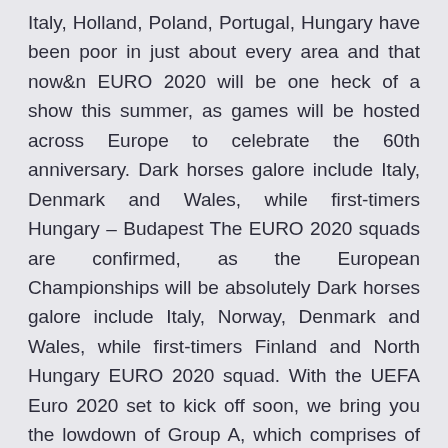Italy, Holland, Poland, Portugal, Hungary have been poor in just about every area and that now&n EURO 2020 will be one heck of a show this summer, as games will be hosted across Europe to celebrate the 60th anniversary. Dark horses galore include Italy, Denmark and Wales, while first-timers Hungary – Budapest The EURO 2020 squads are confirmed, as the European Championships will be absolutely Dark horses galore include Italy, Norway, Denmark and Wales, while first-timers Finland and North Hungary EURO 2020 squad. With the UEFA Euro 2020 set to kick off soon, we bring you the lowdown of Group A, which comprises of Italy, Switzerland, Turkey and Wales.